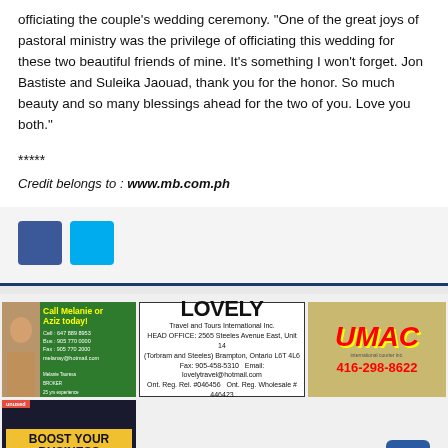officiating the couple's wedding ceremony. "One of the great joys of pastoral ministry was the privilege of officiating this wedding for these two beautiful friends of mine. It's something I won't forget. Jon Bastiste and Suleika Jaouad, thank you for the honor. So much beauty and so many blessings ahead for the two of you. Love you both."
*****
Credit belongs to : www.mb.com.ph
[Figure (other): Social media share buttons: Facebook (blue square) and Twitter (light blue square)]
[Figure (other): Advertisement: Call Melanie or Aziz today! Green background with photo of woman. Contact details including phone numbers and email.]
[Figure (other): Advertisement: LOVELY Travel and Tours International Inc. Black and white ad with company name and contact details.]
[Figure (other): Advertisement: UMAC international courier. Tan/khaki background with red UMAC logo and phone number 416-298-8622.]
[Figure (other): Advertisement: Boost Your Business - Advertise with us. Dark background with yellow banner and superhero figure.]